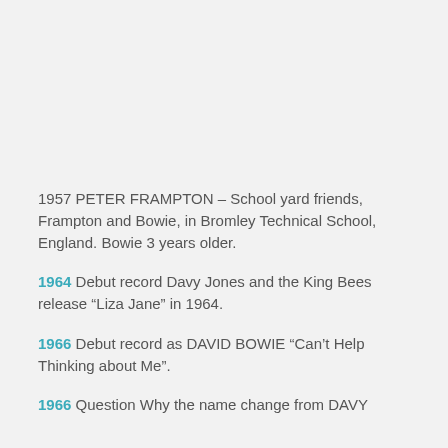1957 PETER FRAMPTON – School yard friends, Frampton and Bowie, in Bromley Technical School, England. Bowie 3 years older.
1964 Debut record Davy Jones and the King Bees release “Liza Jane” in 1964.
1966 Debut record as DAVID BOWIE “Can’t Help Thinking about Me”.
1966 Question Why the name change from DAVY